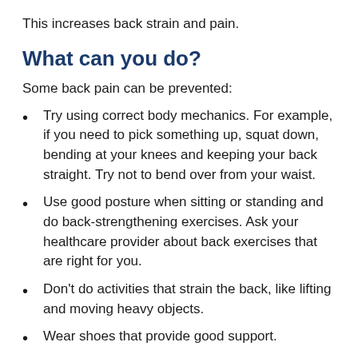This increases back strain and pain.
What can you do?
Some back pain can be prevented:
Try using correct body mechanics. For example, if you need to pick something up, squat down, bending at your knees and keeping your back straight. Try not to bend over from your waist.
Use good posture when sitting or standing and do back-strengthening exercises. Ask your healthcare provider about back exercises that are right for you.
Don't do activities that strain the back, like lifting and moving heavy objects.
Wear shoes that provide good support.
Sleep on your side with pillows between your knees